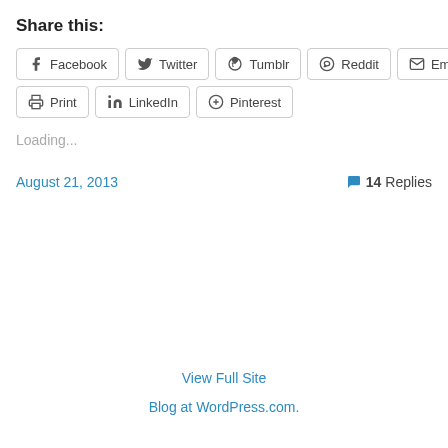Share this:
Facebook  Twitter  Tumblr  Reddit  Email  Print  LinkedIn  Pinterest
Loading...
August 21, 2013   14 Replies
View Full Site
Blog at WordPress.com.